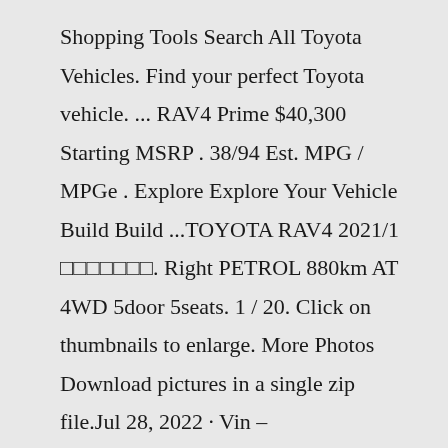Shopping Tools Search All Toyota Vehicles. Find your perfect Toyota vehicle. ... RAV4 Prime $40,300 Starting MSRP . 38/94 Est. MPG / MPGe . Explore Explore Your Vehicle Build Build ...TOYOTA RAV4 2021/1 □□□□□□□. Right PETROL 880km AT 4WD 5door 5seats. 1 / 20. Click on thumbnails to enlarge. More Photos Download pictures in a single zip file.Jul 28, 2022 · Vin – 2T3H1RFV7MW178092: